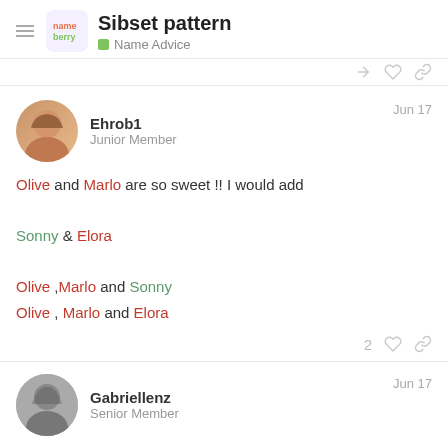Sibset pattern | Name Advice
Ehrob1 Jun 17
Junior Member
Olive and Marlo are so sweet !! I would add

Sonny & Elora

Olive ,Marlo and Sonny
Olive , Marlo and Elora
Gabriellenz Jun 17
Senior Member
Ooo i like both of these! I was thinking about Sonny as a name a few days ago